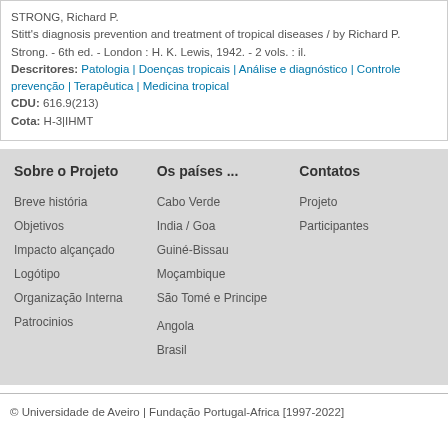STRONG, Richard P.
Stitt's diagnosis prevention and treatment of tropical diseases / by Richard P. Strong. - 6th ed. - London : H. K. Lewis, 1942. - 2 vols. : il.
Descritores: Patologia | Doenças tropicais | Análise e diagnóstico | Controle prevenção | Terapêutica | Medicina tropical
CDU: 616.9(213)
Cota: H-3|IHMT
Sobre o Projeto
Os países ...
Contatos
Breve história
Objetivos
Impacto alçançado
Logótipo
Organização Interna
Patrocinios
Cabo Verde
India / Goa
Guiné-Bissau
Moçambique
São Tomé e Principe
Angola
Brasil
Projeto
Participantes
© Universidade de Aveiro | Fundação Portugal-Africa [1997-2022]